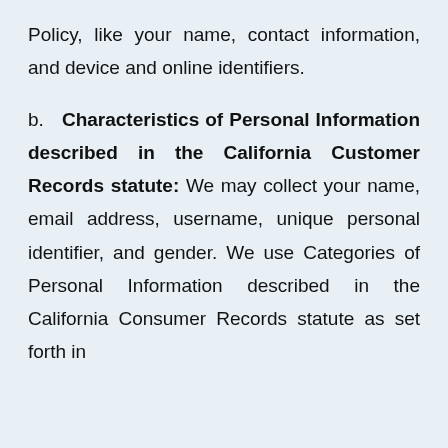Policy, like your name, contact information, and device and online identifiers.
b. Characteristics of Personal Information described in the California Customer Records statute: We may collect your name, email address, username, unique personal identifier, and gender. We use Categories of Personal Information described in the California Consumer Records statute as set forth in